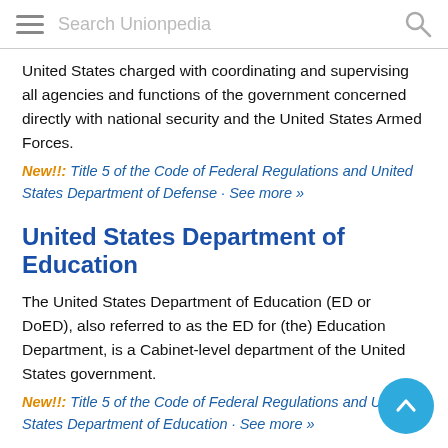Search Unionpedia
United States charged with coordinating and supervising all agencies and functions of the government concerned directly with national security and the United States Armed Forces.
New!!: Title 5 of the Code of Federal Regulations and United States Department of Defense · See more »
United States Department of Education
The United States Department of Education (ED or DoED), also referred to as the ED for (the) Education Department, is a Cabinet-level department of the United States government.
New!!: Title 5 of the Code of Federal Regulations and United States Department of Education · See more »
United States Department of Energy
The United States Department of Energy (DOE) is a cabinet-level department of the United States Government concerned with the United States' policies regarding energy and safety in handling